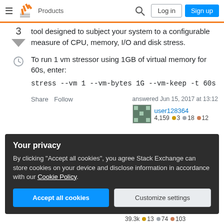Stack Overflow — hamburger menu, logo, Products, search, Log in, Sign up
tool designed to subject your system to a configurable measure of CPU, memory, I/O and disk stress.
To run 1 vm stressor using 1GB of virtual memory for 60s, enter:
stress --vm 1 --vm-bytes 1G --vm-keep -t 60s
Share   Follow   answered Jun 15, 2017 at 13:12   user128364   4,159 ●3 ●18 ●12
Your privacy
By clicking "Accept all cookies", you agree Stack Exchange can store cookies on your device and disclose information in accordance with our Cookie Policy.
Accept all cookies   Customize settings
39.3k ●13 ●74 ●103